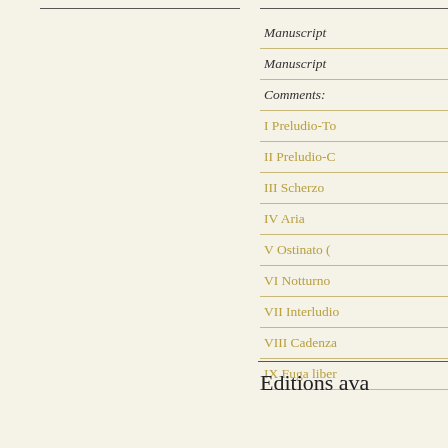Manuscript
Manuscript
Comments:
I Preludio-To
II Preludio-C
III Scherzo
IV Aria
V Ostinato (
VI Notturno
VII Interludio
VIII Cadenza
IX Fuga liber
Editions ava